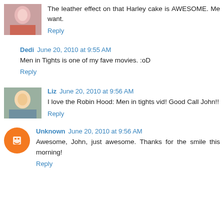The leather effect on that Harley cake is AWESOME. Me want.
Reply
Dedi  June 20, 2010 at 9:55 AM
Men in Tights is one of my fave movies. :oD
Reply
Liz  June 20, 2010 at 9:56 AM
I love the Robin Hood: Men in tights vid! Good Call John!!
Reply
Unknown  June 20, 2010 at 9:56 AM
Awesome, John, just awesome. Thanks for the smile this morning!
Reply